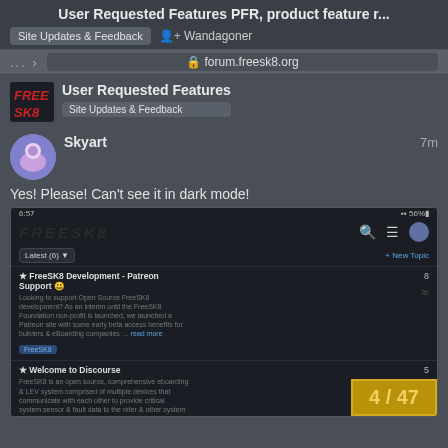User Requested Features PFR, product feature r...
Site Updates & Feedback  Wandagoner
forum.freesk8.org
User Requested Features
Site Updates & Feedback
Skyart
7m
Yes! Please! Can't see it in dark mode!
[Figure (screenshot): Mobile screenshot of forum.freesk8.org showing dark mode interface with topics list including FreeSK8 Development Patreon Support and Welcome to Discourse, plus User Requested Features and Andys table garage topics at bottom]
4 / 47